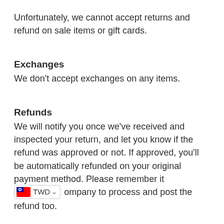Unfortunately, we cannot accept returns and refund on sale items or gift cards.
Exchanges
We don't accept exchanges on any items.
Refunds
We will notify you once we've received and inspected your return, and let you know if the refund was approved or not. If approved, you'll be automatically refunded on your original payment method. Please remember it can take some time for your bank or [TWD currency selector] ompany to process and post the refund too.